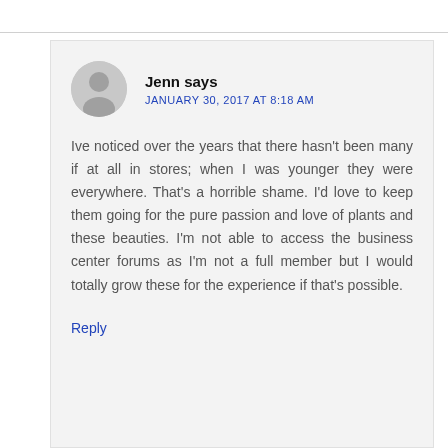Jenn says
JANUARY 30, 2017 AT 8:18 AM
Ive noticed over the years that there hasn't been many if at all in stores; when I was younger they were everywhere. That's a horrible shame. I'd love to keep them going for the pure passion and love of plants and these beauties. I'm not able to access the business center forums as I'm not a full member but I would totally grow these for the experience if that's possible.
Reply